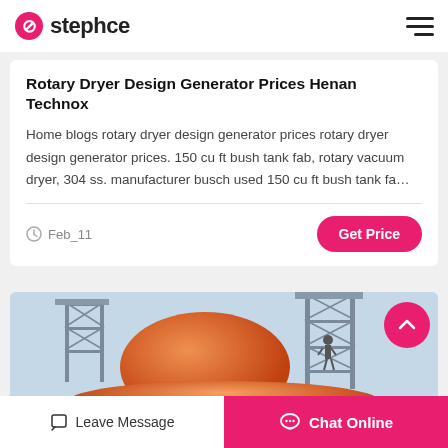stephce
Rotary Dryer Design Generator Prices Henan Technox
Home blogs rotary dryer design generator prices rotary dryer design generator prices. 150 cu ft bush tank fab, rotary vacuum dryer, 304 ss. manufacturer busch used 150 cu ft bush tank fa…
Feb_11
[Figure (photo): Industrial rotary dryer equipment with orange cylindrical tank and metal scaffolding structures]
Leave Message   Chat Online